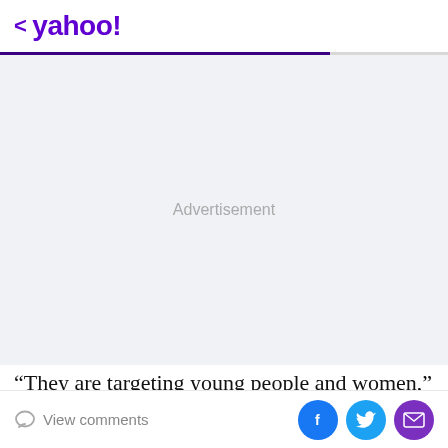< yahoo!
[Figure (other): Advertisement placeholder area with light gray background and 'Advertisement' text centered]
“They are targeting young people and women,” Alizadeh said, according to Iran Wire. “Foreigners are behind it
View comments  [Facebook] [Twitter] [Email]